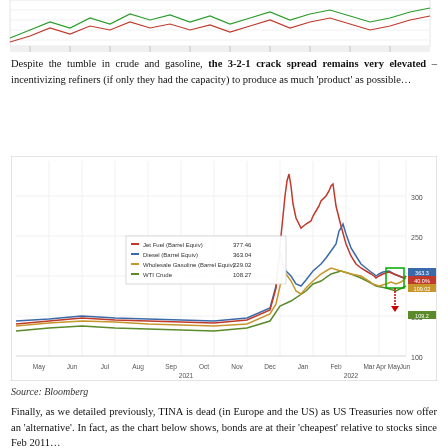[Figure (continuous-plot): Top portion of a financial line chart (cropped), showing price movements with green and red candlestick-style lines against a white grid background.]
Despite the tumble in crude and gasoline, the 3-2-1 crack spread remains very elevated – incentivizing refiners (if only they had the capacity) to produce as much 'product' as possible…
[Figure (line-chart): Multi-line chart with four series: Jet Fuel (Barrel Equiv) 377.46 in red, Diesel (Barrel Equiv) 363.04 in blue, Wholesale Gasoline (Barrel Equiv) 229.02 in gold/orange, WTI Crude 108.27 in green. Shows dramatic spike around Mar-Apr 2022 and then partial decline. Y-axis shows values from ~100 to 300+. X-axis shows months May 2021 through Jun 2022.]
Source: Bloomberg
Finally, as we detailed previously, TINA is dead (in Europe and the US) as US Treasuries now offer an 'alternative'. In fact, as the chart below shows, bonds are at their 'cheapest' relative to stocks since Feb 2011…